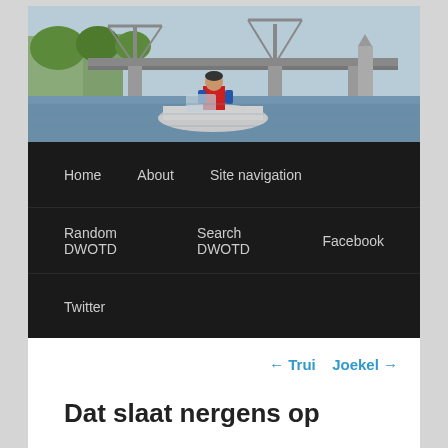[Figure (photo): Header photo of a person in a red life jacket on a boat, with a large drawbridge in the background over a canal in Amsterdam.]
Home   About   Site navigation   Random DWOTD   Search DWOTD   Facebook   Twitter
← Trui   Joekel →
Dat slaat nergens op
Posted on April 21, 2008 by Dutch Gurus
that makes no sense at all [Dutch phrase of